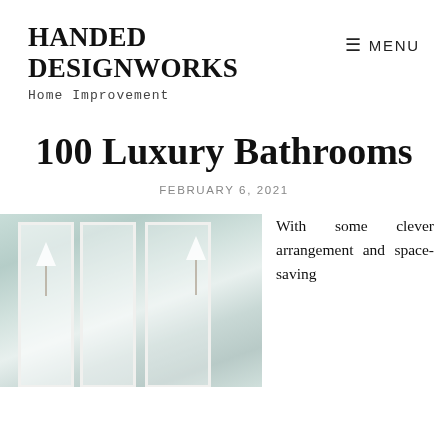HANDED DESIGNWORKS
Home Improvement
100 Luxury Bathrooms
FEBRUARY 6, 2021
[Figure (photo): Luxury bathroom with tall white framed mirrors and chrome wall sconce light fixtures against a pale seafoam/teal wall]
With some clever arrangement and space-saving